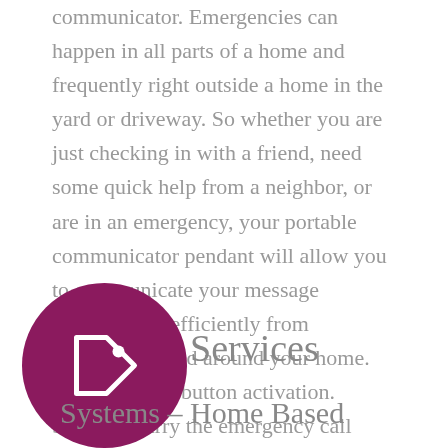communicator. Emergencies can happen in all parts of a home and frequently right outside a home in the yard or driveway. So whether you are just checking in with a friend, need some quick help from a neighbor, or are in an emergency, your portable communicator pendant will allow you to communicate your message instantly and efficiently from anywhere in and around your home. All with ONE button activation. Safety – Carry the emergency call button all over your home and yard with you, even in the shower.
Services
Systems – Home Based